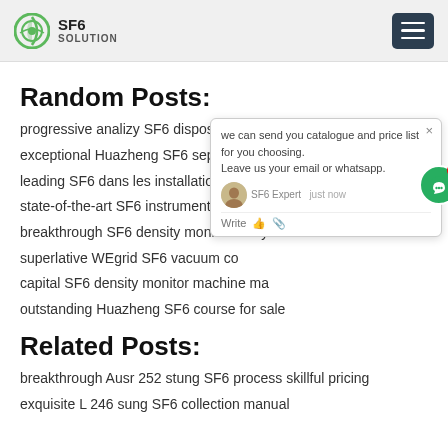SF6 SOLUTION
Random Posts:
progressive analizy SF6 disposal pricing
exceptional Huazheng SF6 separating u...
leading SF6 dans les installation GIS en...
state-of-the-art SF6 instrument valves p...
breakthrough SF6 density monitor analy...
superlative WEgrid SF6 vacuum co...
capital SF6 density monitor machine ma...
outstanding Huazheng SF6 course for sale
Related Posts:
breakthrough Ausr 252 stung SF6 process skillful pricing
exquisite L 246 sung SF6 collection manual